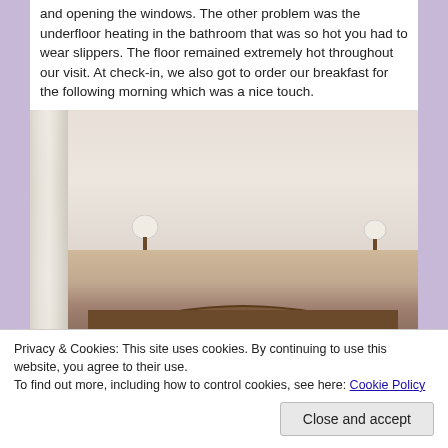and opening the windows. The other problem was the underfloor heating in the bathroom that was so hot you had to wear slippers. The floor remained extremely hot throughout our visit. At check-in, we also got to order our breakfast for the following morning which was a nice touch.
[Figure (photo): Hotel room interior showing white walls, sheer curtains on the left, wooden ceiling beams in the top right corner, two wall-mounted lamps, and the top of a wooden bed headboard at the bottom.]
Privacy & Cookies: This site uses cookies. By continuing to use this website, you agree to their use.
To find out more, including how to control cookies, see here: Cookie Policy
[Figure (photo): Partial view of another hotel room photo visible at the bottom of the page.]